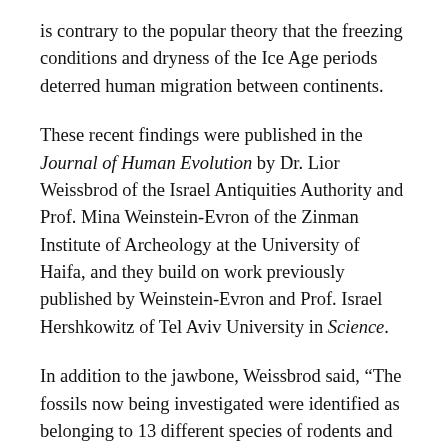is contrary to the popular theory that the freezing conditions and dryness of the Ice Age periods deterred human migration between continents.
These recent findings were published in the Journal of Human Evolution by Dr. Lior Weissbrod of the Israel Antiquities Authority and Prof. Mina Weinstein-Evron of the Zinman Institute of Archeology at the University of Haifa, and they build on work previously published by Weinstein-Evron and Prof. Israel Hershkowitz of Tel Aviv University in Science.
In addition to the jawbone, Weissbrod said, “The fossils now being investigated were identified as belonging to 13 different species of rodents and small insect eaters, some of which now live in high and cold regions, in the Zagros Mountains of northwestern Iran and in the Caucasus Mountains.”